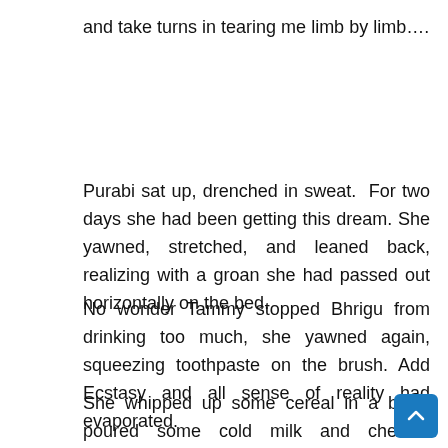and take turns in tearing me limb by limb….
Purabi sat up, drenched in sweat. For two days she had been getting this dream. She yawned, stretched, and leaned back, realizing with a groan she had passed out horizontally on the bed.
No wonder Tammy stopped Bhrigu from drinking too much, she yawned again, squeezing toothpaste on the brush. Add Ecstasy and all sense of reality had evaporated.
She whipped up some cereal in a bowl, poured some cold milk and chewed reflectively. Her head pounded, her ch… throbbed, and everything still swam in front of her eyes. She